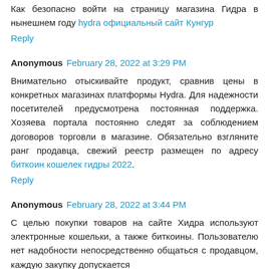Как безопасно войти на страницу магазина Гидра в нынешнем году hydra официальный сайт Кунгур
Reply
Anonymous February 28, 2022 at 3:29 PM
Внимательно отыскивайте продукт, сравнив цены в конкретных магазинах платформы Hydra. Для надежности посетителей предусмотрена постоянная поддержка. Хозяева портала постоянно следят за соблюдением договоров торговли в магазине. Обязательно взгляните ранг продавца, свежий реестр размещен по адресу биткоин кошелек гидры 2022.
Reply
Anonymous February 28, 2022 at 3:44 PM
С целью покупки товаров на сайте Хидра используют электронные кошельки, а также биткоины. Пользователю нет надобности непосредственно общаться с продавцом, каждую закупку допускается